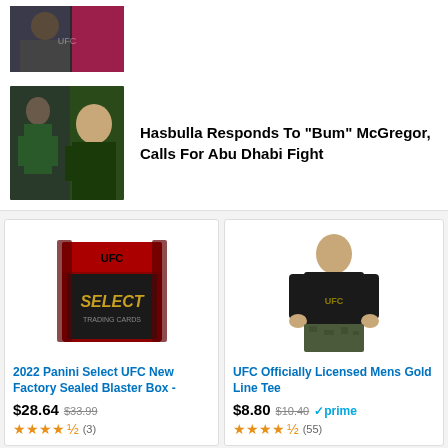[Figure (photo): Cropped photo of a UFC fighter, partially visible at top of page]
[Figure (photo): Photo of Conor McGregor and Hasbulla side by side in fighting stances]
Hasbulla Responds To “Bum” McGregor, Calls For Abu Dhabi Fight
[Figure (photo): 2022 Panini Select UFC trading card blaster box product image]
2022 Panini Select UFC New Factory Sealed Blaster Box -
$28.64 $33.99 ★★★★½ (3)
[Figure (photo): Man wearing UFC Officially Licensed Mens Gold Line Tee in black with camo shorts]
UFC Officially Licensed Mens Gold Line Tee
$8.80 $10.40 prime ★★★★½ (55)
[Figure (photo): Bottom left product card - partial, content not visible]
[Figure (photo): Bottom right product card - Tim Kennedy branding visible]